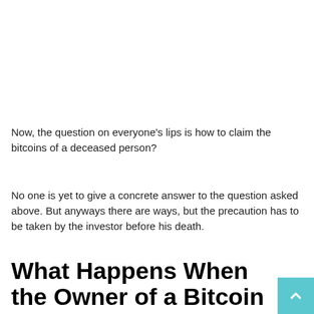Now, the question on everyone's lips is how to claim the bitcoins of a deceased person?
No one is yet to give a concrete answer to the question asked above. But anyways there are ways, but the precaution has to be taken by the investor before his death.
What Happens When the Owner of a Bitcoin dies?